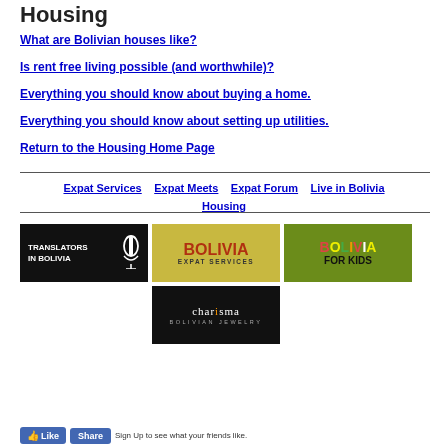Housing
What are Bolivian houses like?
Is rent free living possible (and worthwhile)?
Everything you should know about buying a home.
Everything you should know about setting up utilities.
Return to the Housing Home Page
Expat Services   Expat Meets   Expat Forum   Live in Bolivia   Housing
[Figure (logo): Translators in Bolivia logo - white text on black background with microphone icon]
[Figure (logo): Bolivia Expat Services logo - gold/yellow background with red and brown text]
[Figure (logo): Bolivia For Kids logo - green background with multicolor text]
[Figure (logo): Charisma Bolivian Jewelry logo - white text on black background]
Sign Up to see what your friends like.